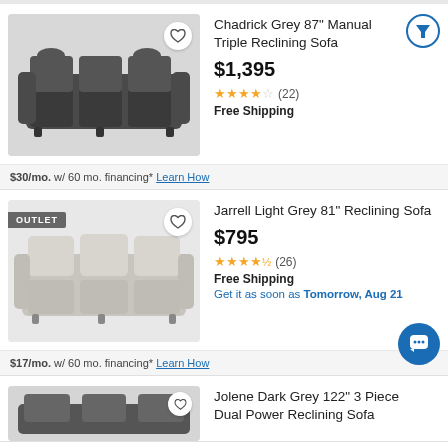[Figure (photo): Grey reclining sofa product image on light background]
Chadrick Grey 87" Manual Triple Reclining Sofa
$1,395
★★★★☆ (22)
Free Shipping
$30/mo. w/ 60 mo. financing* Learn How
[Figure (photo): Light grey reclining sofa with OUTLET badge]
Jarrell Light Grey 81" Reclining Sofa
$795
★★★★½ (26)
Free Shipping
Get it as soon as Tomorrow, Aug 21
$17/mo. w/ 60 mo. financing* Learn How
[Figure (photo): Partial view of dark grey sofa at bottom]
Jolene Dark Grey 122" 3 Piece Dual Power Reclining Sofa